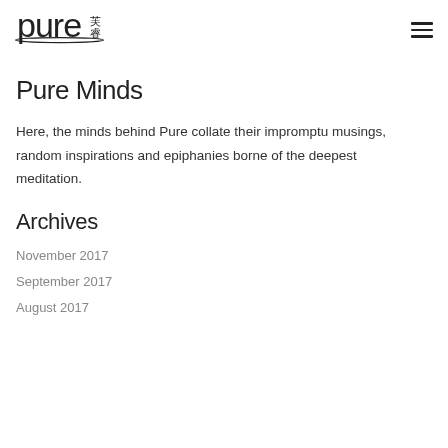[Figure (logo): Pure 芙睿 logo in black — lowercase 'pure' text with Chinese characters 芙睿 to the right, in a circle/oval style]
Pure Minds
Here, the minds behind Pure collate their impromptu musings, random inspirations and epiphanies borne of the deepest meditation.
Archives
November 2017
September 2017
August 2017